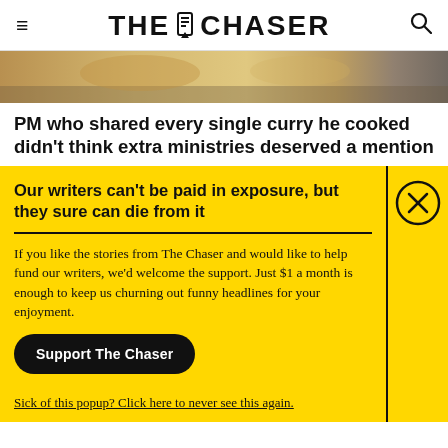THE CHASER
[Figure (photo): Close-up photo of food, appears to be curry or similar dish with warm tones]
PM who shared every single curry he cooked didn't think extra ministries deserved a mention
Our writers can't be paid in exposure, but they sure can die from it
If you like the stories from The Chaser and would like to help fund our writers, we'd welcome the support. Just $1 a month is enough to keep us churning out funny headlines for your enjoyment.
Support The Chaser
Sick of this popup? Click here to never see this again.